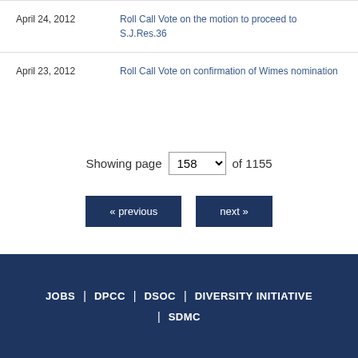April 24, 2012 | Roll Call Vote on the motion to proceed to S.J.Res.36
April 23, 2012 | Roll Call Vote on confirmation of Wimes nomination
Showing page 158 of 1155
« previous  next »
JOBS | DPCC | DSOC | DIVERSITY INITIATIVE | SDMC